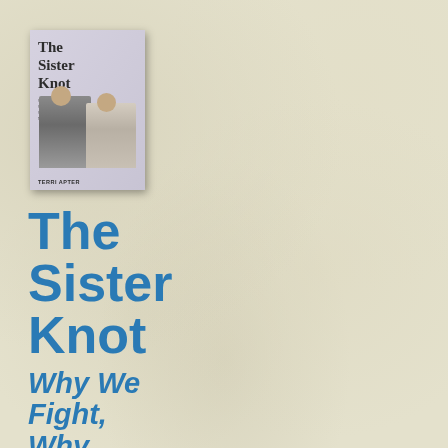[Figure (photo): Book cover of 'The Sister Knot' by Terri Apter, showing two women standing side by side against a light background, with the title in large serif font and subtitle text below.]
The Sister Knot
Why We Fight, Why We're Jealous, and Why We'll Love Each Other No Matter What